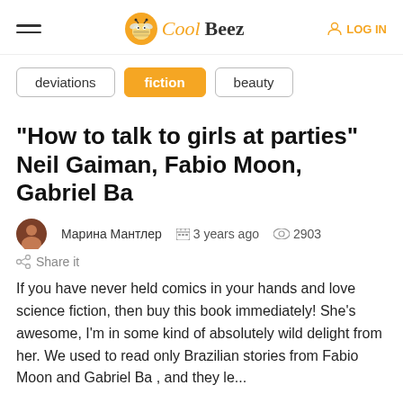CoolBeez — LOG IN
deviations
fiction
beauty
“How to talk to girls at parties” Neil Gaiman, Fabio Moon, Gabriel Ba
Марина Мантлер   3 years ago   2903
Share it
If you have never held comics in your hands and love science fiction, then buy this book immediately! She's awesome, I'm in some kind of absolutely wild delight from her. We used to read only Brazilian stories from Fabio Moon and Gabriel Ba , and they le...